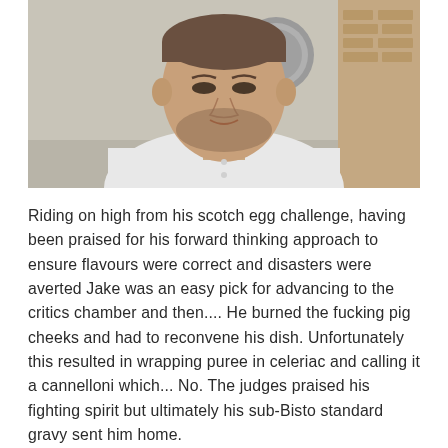[Figure (photo): A young male chef with short hair and beard, wearing a white chef's uniform, looking downward. A MasterChef logo is visible in the background.]
Riding on high from his scotch egg challenge, having been praised for his forward thinking approach to ensure flavours were correct and disasters were averted Jake was an easy pick for advancing to the critics chamber and then.... He burned the fucking pig cheeks and had to reconvene his dish. Unfortunately this resulted in wrapping puree in celeriac and calling it a cannelloni which... No. The judges praised his fighting spirit but ultimately his sub-Bisto standard gravy sent him home.